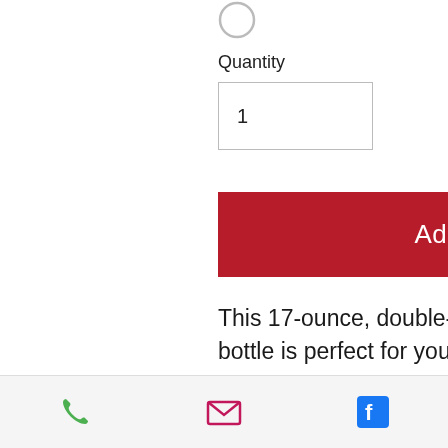[Figure (other): Radio button circle (unselected) at top of page]
Quantity
1
Add to Cart
This 17-ounce, double-walled stainless steel water bottle is perfect for your daily outings. It will keep your drink of choice hot or cold for hours. It also features an odor- and leak-proof cap. Throw it in your car's cup holder on your way to work, take it with
[Figure (infographic): Footer bar with phone icon (green), email envelope icon (pink/red), and Facebook icon (blue)]